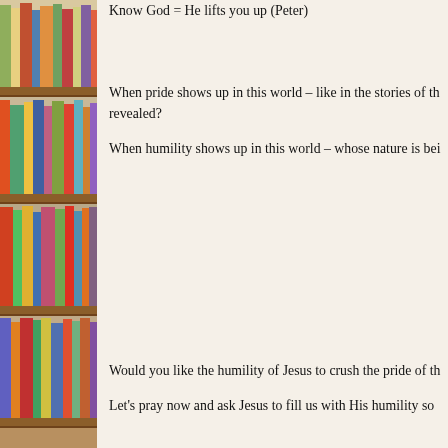[Figure (photo): Bookshelf with colorful books arranged on wooden shelves, visible on the left side of the page]
Know God = He lifts you up (Peter)
When pride shows up in this world – like in the stories of th... revealed?
When humility shows up in this world – whose nature is bei...
Would you like the humility of Jesus to crush the pride of th...
Let's pray now and ask Jesus to fill us with His humility so...